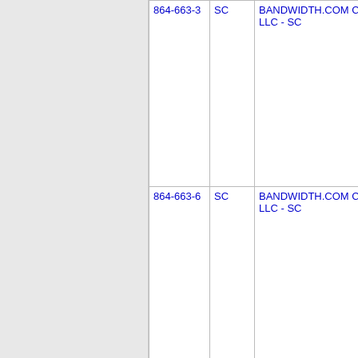| Phone | State | Company | Code |  |
| --- | --- | --- | --- | --- |
| 864-663-3 | SC | BANDWIDTH.COM CLEC, LLC - SC | 077F | BL |
| 864-663-6 | SC | BANDWIDTH.COM CLEC, LLC - SC | 077F | BL |